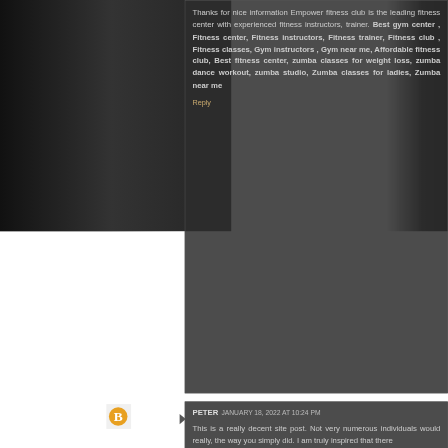Thanks for nice information Empower fitness club is the leading fitness center with experienced fitness instructors, trainer. Best gym center , Fitness center, Fitness instructors, Fitness trainer, Fitness club , Fitness classes, Gym instructors , Gym near me, Affordable fitness club, Best fitness center, zumba classes for weight loss, zumba dance workout, zumba studio, Zumba classes for ladies, Zumba near me
Reply
PETER JANUARY 18, 2022 AT 10:24 PM
This is a really decent site post. Not very numerous individuals would really, the way you simply did. I am truly inspired that there